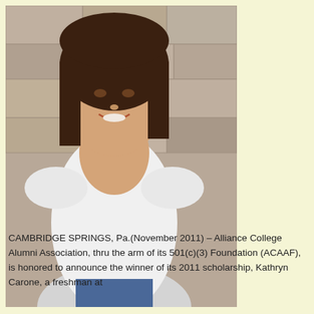[Figure (photo): Portrait photo of a young woman with dark hair, wearing a white lace top, sitting against a stone wall background, smiling at the camera.]
CAMBRIDGE SPRINGS, Pa.(November 2011) – Alliance College Alumni Association, thru the arm of its 501(c)(3) Foundation (ACAAF), is honored to announce the winner of its 2011 scholarship, Kathryn Carone, a freshman at